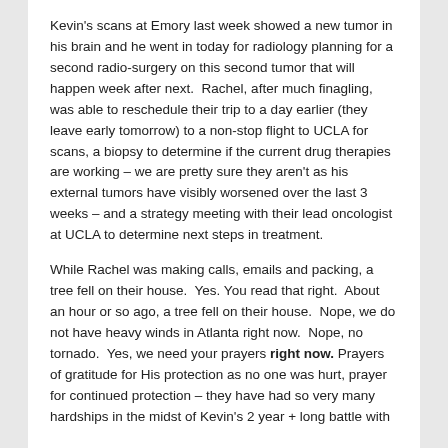Kevin's scans at Emory last week showed a new tumor in his brain and he went in today for radiology planning for a second radio-surgery on this second tumor that will happen week after next.  Rachel, after much finagling, was able to reschedule their trip to a day earlier (they leave early tomorrow) to a non-stop flight to UCLA for scans, a biopsy to determine if the current drug therapies are working – we are pretty sure they aren't as his external tumors have visibly worsened over the last 3 weeks – and a strategy meeting with their lead oncologist at UCLA to determine next steps in treatment.
While Rachel was making calls, emails and packing, a tree fell on their house.  Yes. You read that right.  About an hour or so ago, a tree fell on their house.  Nope, we do not have heavy winds in Atlanta right now.  Nope, no tornado.  Yes, we need your prayers right now. Prayers of gratitude for His protection as no one was hurt, prayer for continued protection – they have had so very many hardships in the midst of Kevin's 2 year + long battle with